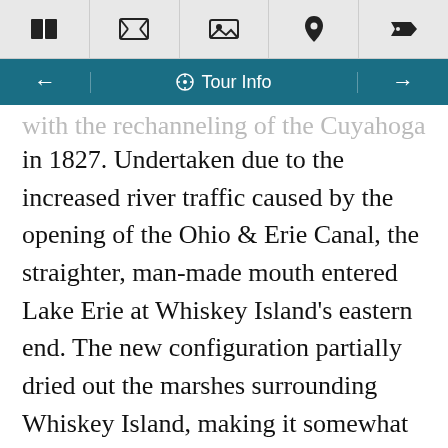[icon bar: book, film, image, location pin, tag]
← Tour Info →
with the rechanneling of the Cuyahoga River in 1827. Undertaken due to the increased river traffic caused by the opening of the Ohio & Erie Canal, the straighter, man-made mouth entered Lake Erie at Whiskey Island's eastern end. The new configuration partially dried out the marshes surrounding Whiskey Island, making it somewhat more amenable to development.
Land developers soon purchased Whiskey Island from Carter's descendants and laid out a street grid on the land. Most Clevelanders